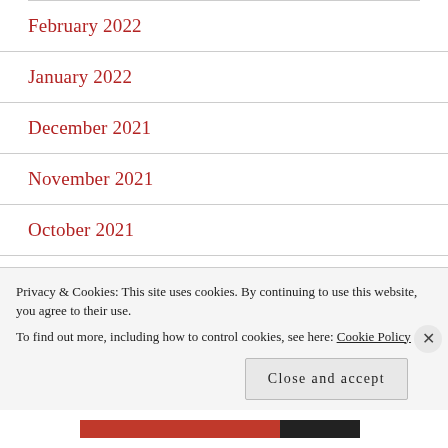February 2022
January 2022
December 2021
November 2021
October 2021
September 2021
August 2021
Privacy & Cookies: This site uses cookies. By continuing to use this website, you agree to their use. To find out more, including how to control cookies, see here: Cookie Policy
Close and accept